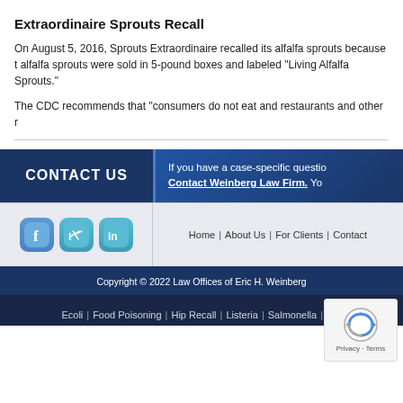Extraordinaire Sprouts Recall
On August 5, 2016, Sprouts Extraordinaire recalled its alfalfa sprouts because t alfalfa sprouts were sold in 5-pound boxes and labeled “Living Alfalfa Sprouts.”
The CDC recommends that “consumers do not eat and restaurants and other r
CONTACT US
If you have a case-specific questio Contact Weinberg Law Firm. Yo
[Figure (infographic): Social media icons: Facebook (blue rounded square with f), Twitter (teal rounded square with bird), LinkedIn (blue/teal rounded square with in)]
Home  |  About Us  |  For Clients  |  Contact
Copyright © 2022 Law Offices of Eric H. Weinberg
Ecoli  |  Food Poisoning  |  Hip Recall  |  Listeria  |  Salmonella  |  Sta
[Figure (other): reCAPTCHA widget showing spinning arrows logo and Privacy - Terms text]